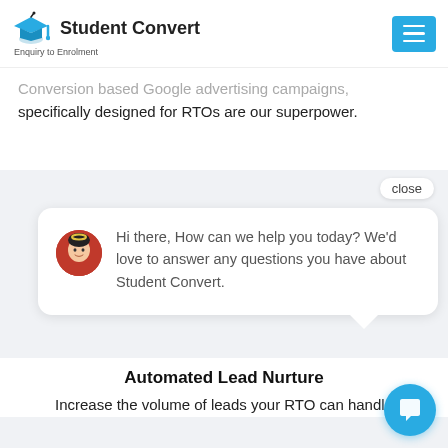[Figure (logo): Student Convert logo with graduation cap icon and tagline 'Enquiry to Enrolment']
Conversion based Google advertising campaigns, specifically designed for RTOs are our superpower.
close
[Figure (screenshot): Chat widget popup showing avatar of a woman and message: Hi there, How can we help you today? We'd love to answer any questions you have about Student Convert.]
Automated Lead Nurture
Increase the volume of leads your RTO can handle